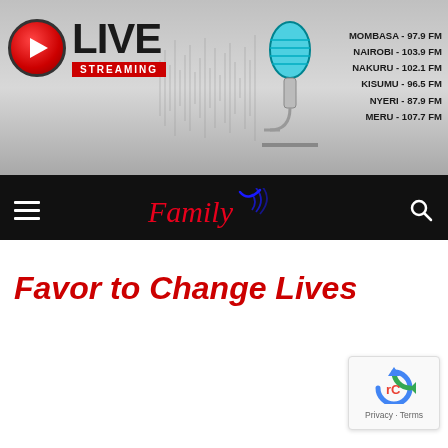[Figure (screenshot): Live Streaming banner with radio station frequencies listed: MOMBASA - 97.9 FM, NAIROBI - 103.9 FM, NAKURU - 102.1 FM, KISUMU - 96.5 FM, NYERI - 87.9 FM, MERU - 107.7 FM]
Family Radio navigation bar with hamburger menu and search icon
Favor to Change Lives
[Figure (logo): reCAPTCHA badge with Privacy and Terms links]